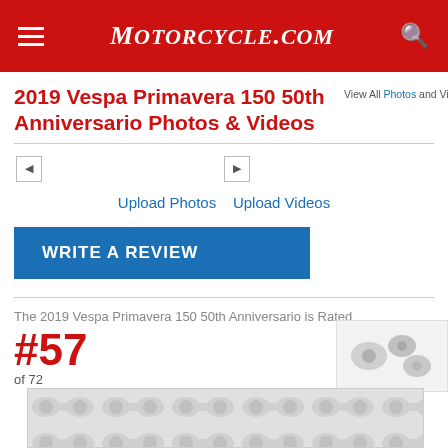MOTORCYCLE.COM
2019 Vespa Primavera 150 50th Anniversario Photos & Videos
View All Photos and Videos
Upload Photos  Upload Videos
WRITE A REVIEW
The 2019 Vespa Primavera 150 50th Anniversario is Rated
#57
of 72